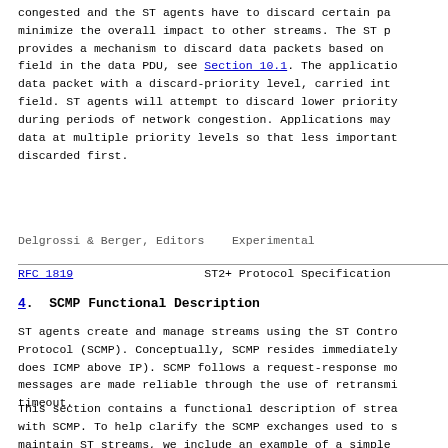congested and the ST agents have to discard certain packets to minimize the overall impact to other streams. The ST protocol provides a mechanism to discard data packets based on the priority field in the data PDU, see Section 10.1. The application tags each data packet with a discard-priority level, carried into the ST priority field. ST agents will attempt to discard lower priority data during periods of network congestion. Applications may choose to send data at multiple priority levels so that less important data is discarded first.
Delgrossi & Berger, Editors    Experimental
RFC 1819                ST2+ Protocol Specification
4.  SCMP Functional Description
ST agents create and manage streams using the ST Control Protocol (SCMP). Conceptually, SCMP resides immediately above ST (as does ICM above IP). SCMP follows a request-response model, and messages are made reliable through the use of retransmission and timeout.
This section contains a functional description of stream management with SCMP. To help clarify the SCMP exchanges used to setup and maintain ST streams, we include an example of a simple